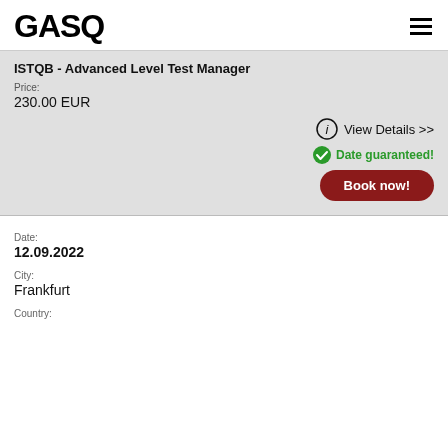GASQ
ISTQB - Advanced Level Test Manager
Price:
230.00 EUR
View Details >>
Date guaranteed!
Book now!
Date:
12.09.2022
City:
Frankfurt
Country: